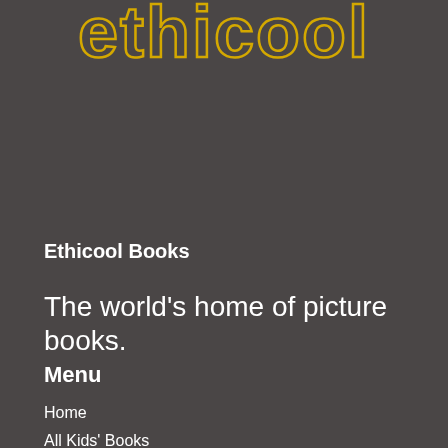[Figure (logo): Ethicool logo text in large bold outlined yellow/gold lettering on dark grey background]
Ethicool Books
The world's home of picture books.
Menu
Home
All Kids' Books